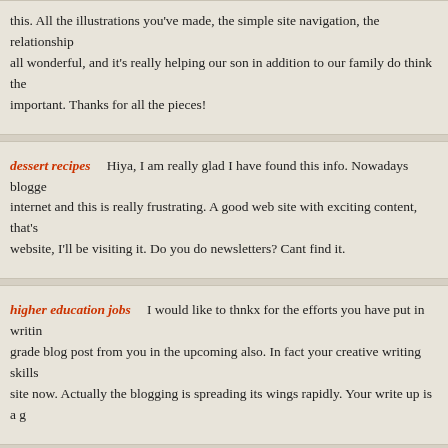this. All the illustrations you've made, the simple site navigation, the relationships all wonderful, and it's really helping our son in addition to our family do think the important. Thanks for all the pieces!
dessert recipes   Hiya, I am really glad I have found this info. Nowadays bloggers internet and this is really frustrating. A good web site with exciting content, that's website, I'll be visiting it. Do you do newsletters? Cant find it.
higher education jobs   I would like to thnkx for the efforts you have put in writing grade blog post from you in the upcoming also. In fact your creative writing skills site now. Actually the blogging is spreading its wings rapidly. Your write up is a g
kitchen design ideas   Thank you for the good writeup. It in fact was a amusem added agreeable from you! By the way, how could we communicate?
Los Angeles Real Estate   I have to express appreciation to the writer just for re checking through the online world and finding strategies which are not productiv Existing minus the solutions to the problems you have sorted out by means of